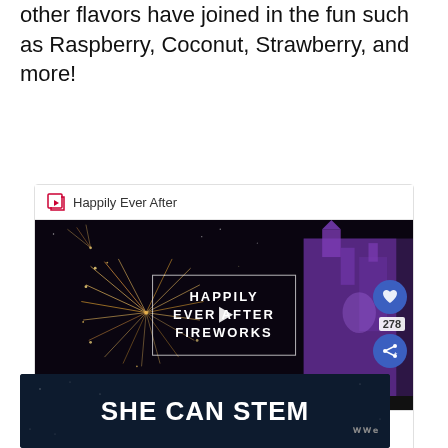other flavors have joined in the fun such as Raspberry, Coconut, Strawberry, and more!
[Figure (screenshot): Embedded video card titled 'Happily Ever After' showing a Disney World fireworks video thumbnail with 'HAPPILY EVER AFTER FIREWORKS' text overlay, play button, heart/like button, 278 count, share button, and a 'WHAT'S NEXT → Disney World in April 2020' preview]
[Figure (screenshot): Advertisement banner with dark navy background and white bold text reading 'SHE CAN STEM' with a small logo on the right]